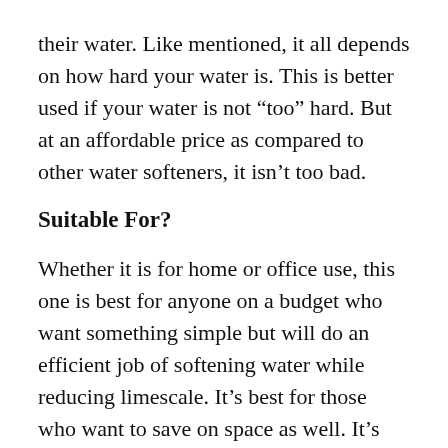their water. Like mentioned, it all depends on how hard your water is. This is better used if your water is not “too” hard. But at an affordable price as compared to other water softeners, it isn’t too bad.
Suitable For?
Whether it is for home or office use, this one is best for anyone on a budget who want something simple but will do an efficient job of softening water while reducing limescale. It’s best for those who want to save on space as well. It’s also best